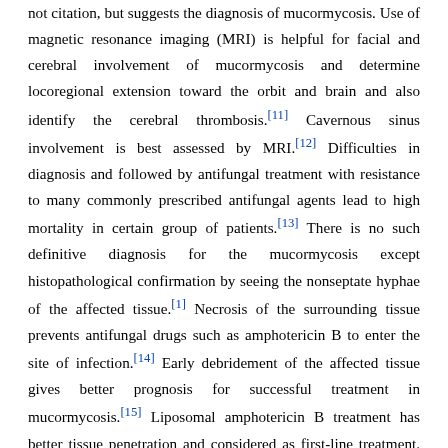not citation, but suggests the diagnosis of mucormycosis. Use of magnetic resonance imaging (MRI) is helpful for facial and cerebral involvement of mucormycosis and determine locoregional extension toward the orbit and brain and also identify the cerebral thrombosis.[11] Cavernous sinus involvement is best assessed by MRI.[12] Difficulties in diagnosis and followed by antifungal treatment with resistance to many commonly prescribed antifungal agents lead to high mortality in certain group of patients.[13] There is no such definitive diagnosis for the mucormycosis except histopathological confirmation by seeing the nonseptate hyphae of the affected tissue.[1] Necrosis of the surrounding tissue prevents antifungal drugs such as amphotericin B to enter the site of infection.[14] Early debridement of the affected tissue gives better prognosis for successful treatment in mucormycosis.[15] Liposomal amphotericin B treatment has better tissue penetration and considered as first-line treatment.[3] However, monotherapy such as surgery alone or amphotericin B alone has limited efficacy, whereas the combination therapy with liposomal amphotericin B or posaconazole and surgical debridement is recommended treatment.[16] Amphotericin B has potential toxicity on renal function and so dose should be individually adjusted between 0.5 mg/kg/day and 1.0 mg/kg/day on the basis of body weight and renal